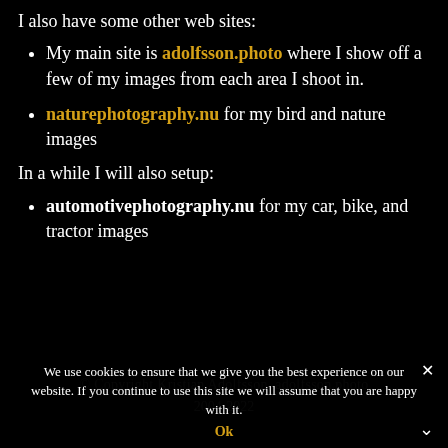I also have some other web sites:
My main site is adolfsson.photo where I show off a few of my images from each area I shoot in.
naturephotography.nu for my bird and nature images
In a while I will also setup:
automotivephotography.nu for my car, bike, and tractor images
© Copyright Kristian Adolfsson, adolfsson.photo 2004-2022
We use cookies to ensure that we give you the best experience on our website. If you continue to use this site we will assume that you are happy with it. Ok